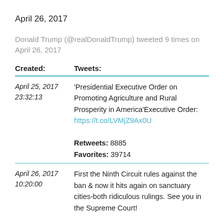April 26, 2017
Donald Trump (@realDonaldTrump) tweeted 9 times on April 26, 2017
| Created: | Tweets: |
| --- | --- |
| April 25, 2017 23:32:13 | 'Presidential Executive Order on Promoting Agriculture and Rural Prosperity in America'Executive Order: https://t.co/LVMjZ9Ax0U Retweets: 8885 Favorites: 39714 |
| April 26, 2017 10:20:00 | First the Ninth Circuit rules against the ban & now it hits again on sanctuary cities-both ridiculous rulings. See you in the Supreme Court! Retweets: 18022 Favorites: 68988 |
| April 26, 2017 | Out of our very big country with many choices… |